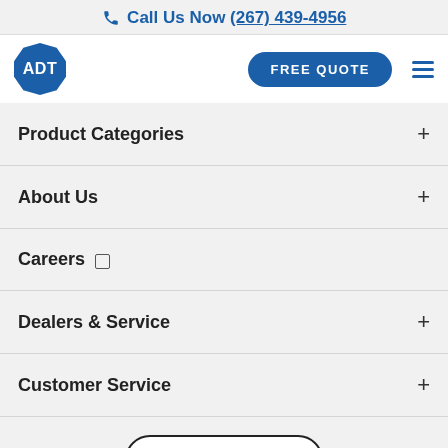Call Us Now (267) 439-4956
[Figure (logo): ADT logo (blue octagon with ADT text) and navigation bar with FREE QUOTE button and hamburger menu]
Product Categories
About Us
Careers (external link)
Dealers & Service
Customer Service
Accessibility